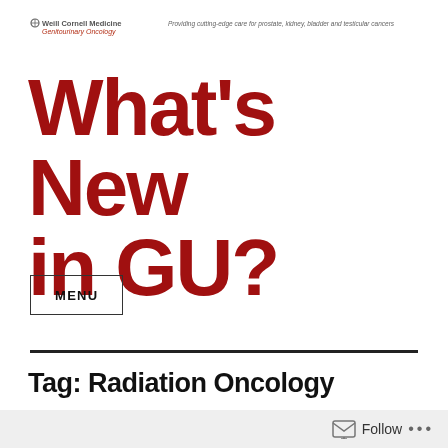Weill Cornell Medicine Genitourinary Oncology — Providing cutting-edge care for prostate, kidney, bladder and testicular cancers
What's New in GU?
MENU
Tag: Radiation Oncology